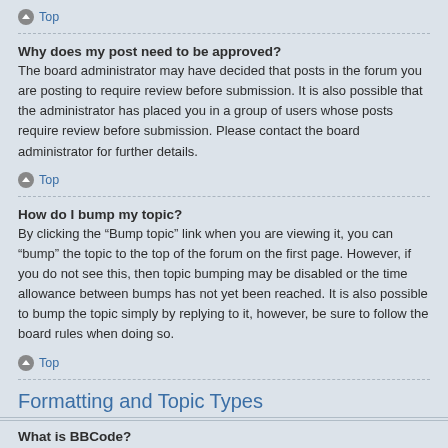Top
Why does my post need to be approved?
The board administrator may have decided that posts in the forum you are posting to require review before submission. It is also possible that the administrator has placed you in a group of users whose posts require review before submission. Please contact the board administrator for further details.
Top
How do I bump my topic?
By clicking the “Bump topic” link when you are viewing it, you can “bump” the topic to the top of the forum on the first page. However, if you do not see this, then topic bumping may be disabled or the time allowance between bumps has not yet been reached. It is also possible to bump the topic simply by replying to it, however, be sure to follow the board rules when doing so.
Top
Formatting and Topic Types
What is BBCode?
BBCode is a special implementation of HTML, offering great formatting control on particular objects in a post. The use of BBCode is granted by the administrator but it can also be disabled on a per post basis from the posting...